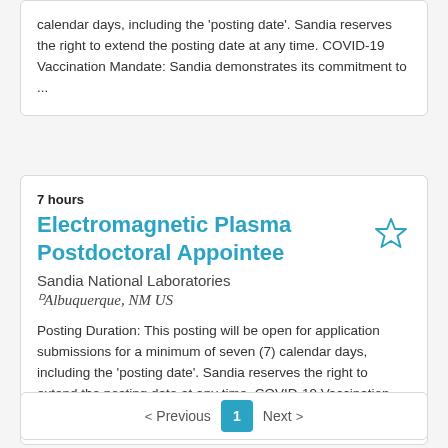calendar days, including the 'posting date'. Sandia reserves the right to extend the posting date at any time. COVID-19 Vaccination Mandate: Sandia demonstrates its commitment to ...
7 hours
Electromagnetic Plasma Postdoctoral Appointee
Sandia National Laboratories
Albuquerque, NM US
Posting Duration: This posting will be open for application submissions for a minimum of seven (7) calendar days, including the 'posting date'. Sandia reserves the right to extend the posting date at any time. COVID-19 Vaccination Mandate: Sandia demonstrates its commitment ...
< Previous   1   Next >